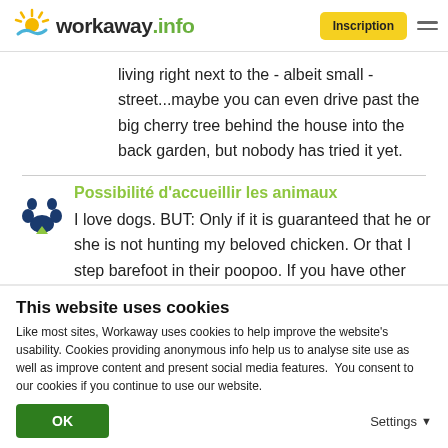workaway.info | Inscription
living right next to the - albeit small - street...maybe you can even drive past the big cherry tree behind the house into the back garden, but nobody has tried it yet.
Possibilité d'accueillir les animaux
I love dogs. BUT: Only if it is guaranteed that he or she is not hunting my beloved chicken. Or that I step barefoot in their poopoo. If you have other pets, just
This website uses cookies
Like most sites, Workaway uses cookies to help improve the website's usability. Cookies providing anonymous info help us to analyse site use as well as improve content and present social media features.  You consent to our cookies if you continue to use our website.
OK
Settings